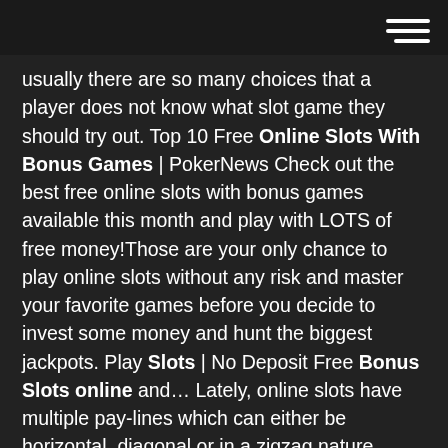[hamburger menu icon]
usually there are so many choices that a player does not know what slot game they should try out. Top 10 Free Online Slots With Bonus Games | PokerNews Check out the best free online slots with bonus games available this month and play with LOTS of free money!Those are your only chance to play online slots without any risk and master your favorite games before you decide to invest some money and hunt the biggest jackpots. Play Slots | No Deposit Free Bonus Slots online and… Lately, online slots have multiple pay-lines which can either be horizontal, diagonal or in a zigzag nature. Scatter Symbol – Scatter symbols add a level of randomness to any online slot. These symbols activate bonus games, bonus multipliers and don't have to be on a particular… free online slot